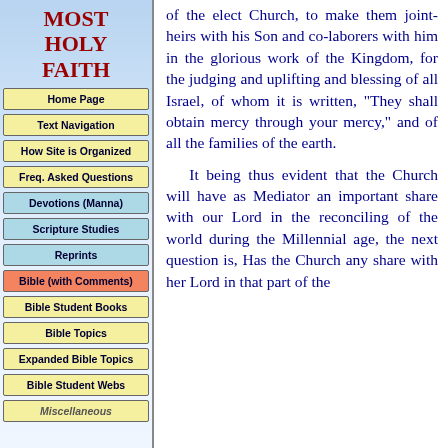MOST HOLY FAITH
Home Page
Text Navigation
How Site is Organized
Freq. Asked Questions
Devotions (Manna)
Scripture Studies
Reprints
Bible (with Comments)
Bible Student Books
Bible Topics
Expanded Bible Topics
Bible Student Webs
Miscellaneous
of the elect Church, to make them joint-heirs with his Son and co-laborers with him in the glorious work of the Kingdom, for the judging and uplifting and blessing of all Israel, of whom it is written, "They shall obtain mercy through your mercy," and of all the families of the earth.
It being thus evident that the Church will have as Mediator an important share with our Lord in the reconciling of the world during the Millennial age, the next question is, Has the Church any share with her Lord in that part of the